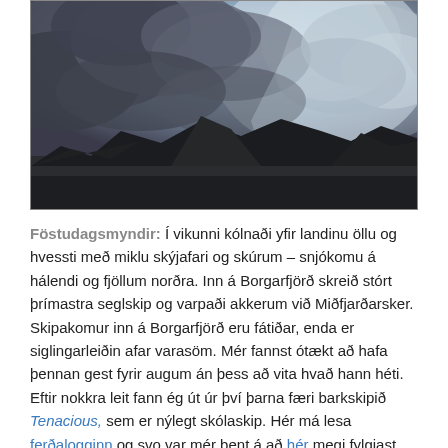[Figure (photo): Landscape photograph of mountains under dramatic stormy cloudy sky with rays of light breaking through clouds]
Föstudagsmyndir: Í vikunni kólnaði yfir landinu öllu og hvessti með miklu skýjafari og skúrum – snjókomu á hálendi og fjöllum norðra. Inn á Borgarfjörð skreið stórt þrímastra seglskip og varpaði akkerum við Miðfjarðarsker. Skipakomur inn á Borgarfjörð eru fátiðar, enda er siglingarleiðin afar varasöm. Mér fannst ótækt að hafa þennan gest fyrir augum án þess að vita hvað hann héti. Eftir nokkra leit fann ég út úr því þarna færi barkskipið Tenacious, sem er nýlegt skólaskip. Hér má lesa ferðalogginn og svo var mér bent á að hér megi fylgjast með skipaferðum almennt. Nú eru nætur að grána